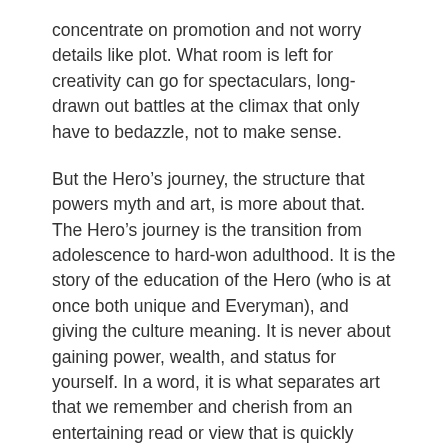concentrate on promotion and not worry details like plot. What room is left for creativity can go for spectaculars, long-drawn out battles at the climax that only have to bedazzle, not to make sense.
But the Hero's journey, the structure that powers myth and art, is more about that. The Hero's journey is the transition from adolescence to hard-won adulthood. It is the story of the education of the Hero (who is at once both unique and Everyman), and giving the culture meaning. It is never about gaining power, wealth, and status for yourself. In a word, it is what separates art that we remember and cherish from an entertaining read or view that is quickly forgotten. On the symbolic level that most of human beings' thinking takes place, or at least most of what matters.
Tolkien knew that. In anticipation of that ending, he has Frodo and Sam on the way to Mordor, and later which